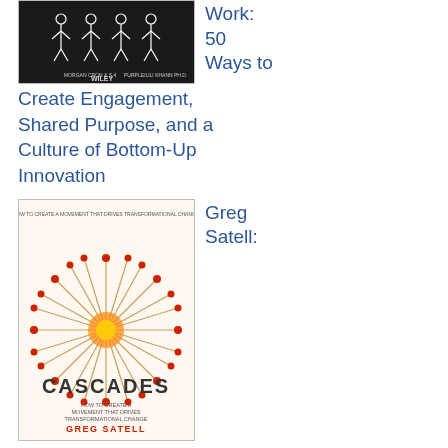[Figure (illustration): Book cover for a Wiley publication showing stick figures at work, black and white with Wiley logo]
Work: 50 Ways to Create Engagement, Shared Purpose, and a Culture of Bottom-Up Innovation
[Figure (illustration): Book cover for 'Cascades' by Greg Satell showing radiating matchstick design in orange and red on white background]
Greg Satell:
Cascades: How to Create a Movement that Drives Transformational Change
[Figure (illustration): Book cover for Yertle the Turtle by Dr. Seuss, green background with cartoon turtle illustration]
Dr. Seuss: Yertle